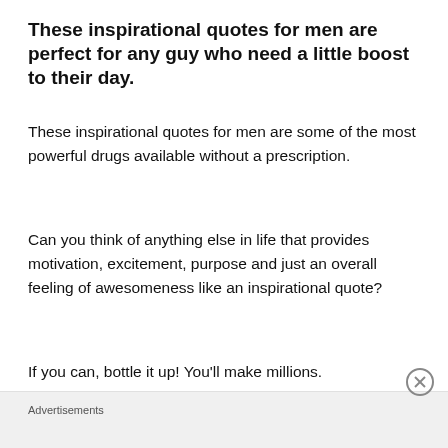These inspirational quotes for men are perfect for any guy who need a little boost to their day.
These inspirational quotes for men are some of the most powerful drugs available without a prescription.
Can you think of anything else in life that provides motivation, excitement, purpose and just an overall feeling of awesomeness like an inspirational quote?
If you can, bottle it up! You'll make millions.
Sometimes a person just needs that little spark of motivation, inspiration or even humor to get through a
Advertisements